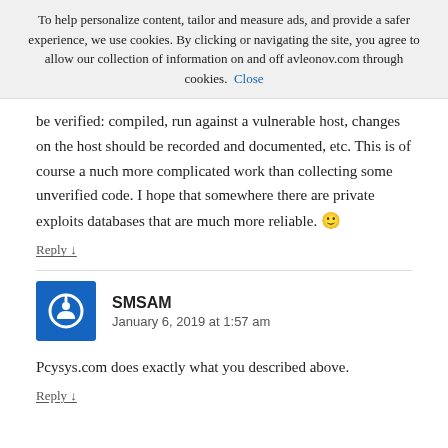To help personalize content, tailor and measure ads, and provide a safer experience, we use cookies. By clicking or navigating the site, you agree to allow our collection of information on and off avleonov.com through cookies. Close
be verified: compiled, run against a vulnerable host, changes on the host should be recorded and documented, etc. This is of course a nuch more complicated work than collecting some unverified code. I hope that somewhere there are private exploits databases that are much more reliable. 🙂
Reply ↓
SMSAM
January 6, 2019 at 1:57 am
Pcysys.com does exactly what you described above.
Reply ↓